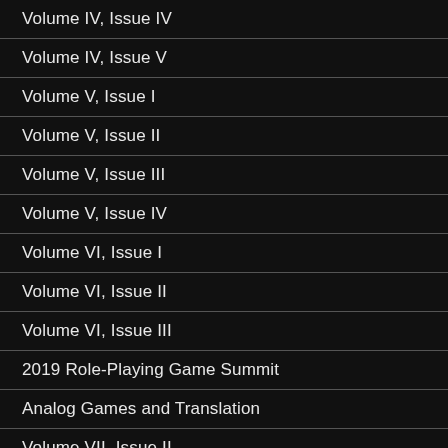Volume IV, Issue IV
Volume IV, Issue V
Volume V, Issue I
Volume V, Issue II
Volume V, Issue III
Volume V, Issue IV
Volume VI, Issue I
Volume VI, Issue II
Volume VI, Issue III
2019 Role-Playing Game Summit
Analog Games and Translation
Volume VII, Issue II
Volume VIII, Issue I